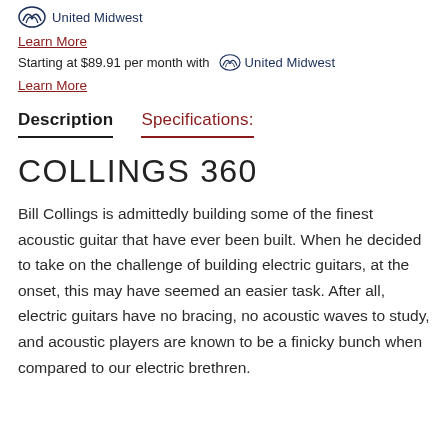[Figure (logo): United Midwest logo with stylized M icon and text 'United Midwest']
Learn More
Starting at $89.91 per month with United Midwest
Learn More
Description    Specifications:
COLLINGS 360
Bill Collings is admittedly building some of the finest acoustic guitar that have ever been built. When he decided to take on the challenge of building electric guitars, at the onset, this may have seemed an easier task. After all, electric guitars have no bracing, no acoustic waves to study, and acoustic players are known to be a finicky bunch when compared to our electric brethren.